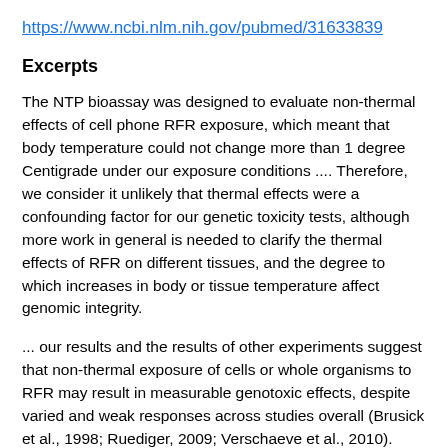https://www.ncbi.nlm.nih.gov/pubmed/31633839
Excerpts
The NTP bioassay was designed to evaluate non-thermal effects of cell phone RFR exposure, which meant that body temperature could not change more than 1 degree Centigrade under our exposure conditions .... Therefore, we consider it unlikely that thermal effects were a confounding factor for our genetic toxicity tests, although more work in general is needed to clarify the thermal effects of RFR on different tissues, and the degree to which increases in body or tissue temperature affect genomic integrity.
... our results and the results of other experiments suggest that non-thermal exposure of cells or whole organisms to RFR may result in measurable genotoxic effects, despite varied and weak responses across studies overall (Brusick et al., 1998; Ruediger, 2009; Verschaeve et al., 2010). Induction of oxygen radicals or interference with DNA repair processes have been proposed as possible mechanisms by